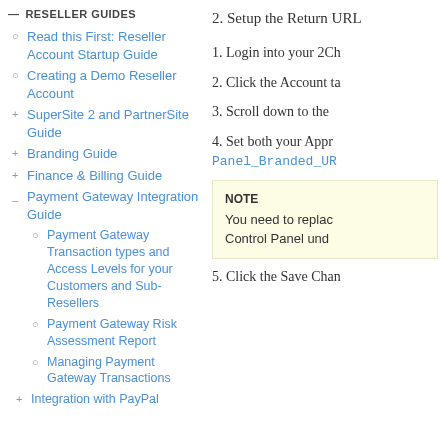RESELLER GUIDES
Read this First: Reseller Account Startup Guide
Creating a Demo Reseller Account
SuperSite 2 and PartnerSite Guide
Branding Guide
Finance & Billing Guide
Payment Gateway Integration Guide
Payment Gateway Transaction types and Access Levels for your Customers and Sub-Resellers
Payment Gateway Risk Assessment Report
Managing Payment Gateway Transactions
Integration with PayPal
2. Setup the Return URL
1. Login into your 2Ch
2. Click the Account ta
3. Scroll down to the
4. Set both your Appr Panel_Branded_UR
NOTE
You need to replac Control Panel und
5. Click the Save Chan